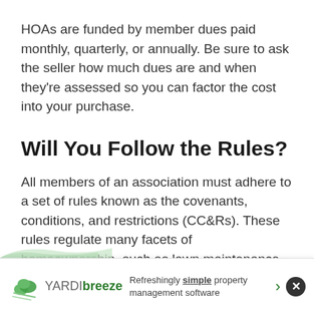HOAs are funded by member dues paid monthly, quarterly, or annually. Be sure to ask the seller how much dues are and when they're assessed so you can factor the cost into your purchase.
Will You Follow the Rules?
All members of an association must adhere to a set of rules known as the covenants, conditions, and restrictions (CC&Rs). These rules regulate many facets of homeownership, such as lawn maintenance, architectural design, and where you can park vehicles. Ask the seller for a copy
[Figure (other): Yardi Breeze advertisement banner: logo with cloud/wind icon, text 'Refreshingly simple property management software', green arrow, close button]